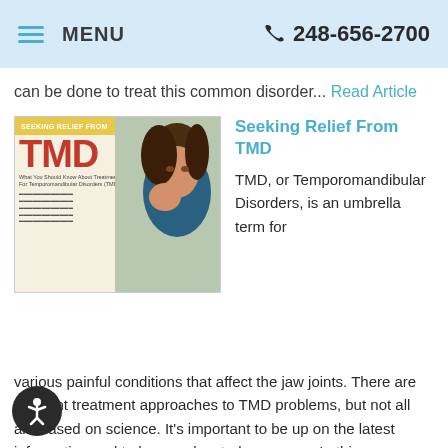MENU   248-656-2700
can be done to treat this common disorder... Read Article
[Figure (photo): Magazine cover titled 'Seeking Relief From TMD' with a woman holding her jaw, suggesting jaw pain]
Seeking Relief From TMD
TMD, or Temporomandibular Disorders, is an umbrella term for various painful conditions that affect the jaw joints. There are different treatment approaches to TMD problems, but not all are based on science. It's important to be up on the latest information and to be an educated consumer. In this comprehensive article, Dear Doctor magazine provides state-of-the-